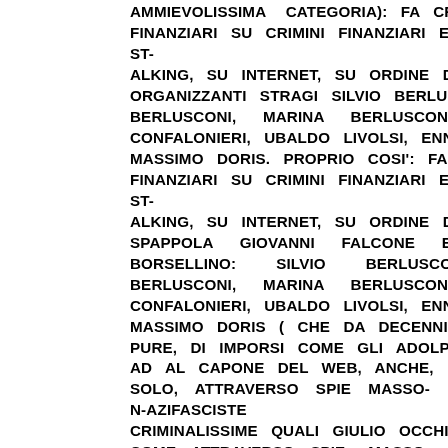AMMIEVOLISSIMA CATEGORIA): FA CRIMINI FINANZIARI SU CRIMINI FINANZIARI E NAZI-STALKING, SU INTERNET, SU ORDINE DEI PEDOFILI ORGANIZZANTI STRAGI SILVIO BERLUSCONI, PAOLO BERLUSCONI, MARINA BERLUSCONI, FEDELE CONFALONIERI, UBALDO LIVOLSI, ENNIO DORIS E MASSIMO DORIS. PROPRIO COSI': FA CRIMINI FINANZIARI SU CRIMINI FINANZIARI E NAZI-STALKING, SU INTERNET, SU ORDINE DEI PEDOFILI SPAPPOLA GIOVANNI FALCONE E PAOLO BORSELLINO: SILVIO BERLUSCONI, PAOLO BERLUSCONI, MARINA BERLUSCONI, FEDELE CONFALONIERI, UBALDO LIVOLSI, ENNIO DORIS E MASSIMO DORIS ( CHE DA DECENNI CERCAVANO, PURE, DI IMPORSI COME GLI ADOLPH HITLER MISTI AD AL CAPONE DEL WEB, ANCHE, MA DI CERTO, NON SOLO, ATTRAVERSO SPIE MASSO-N-AZIFASCISTE CRIMINALISSIME QUALI GIULIO OCCHIONERO, "IERI", COME ATTRAVERSO SPIE MASSO-N-AZIFASCISTE CRIMINALISSIME PIO POMPA E MARCO MANCINI, ""L'ALTRO IERI", COME ATTRAVERSO SPIE MASSO-N-AZIFASCISTE CRIMINALISSIME GIULIANO TAVAROLI ED EMANUELE CIPRIANI, '"TRE GIORNI FA", COME